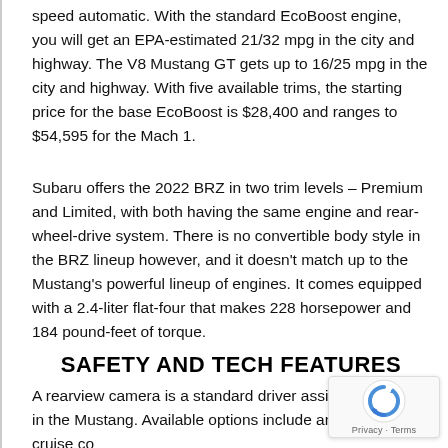speed automatic. With the standard EcoBoost engine, you will get an EPA-estimated 21/32 mpg in the city and highway. The V8 Mustang GT gets up to 16/25 mpg in the city and highway. With five available trims, the starting price for the base EcoBoost is $28,400 and ranges to $54,595 for the Mach 1.
Subaru offers the 2022 BRZ in two trim levels – Premium and Limited, with both having the same engine and rear-wheel-drive system. There is no convertible body style in the BRZ lineup however, and it doesn't match up to the Mustang's powerful lineup of engines. It comes equipped with a 2.4-liter flat-four that makes 228 horsepower and 184 pound-feet of torque.
SAFETY AND TECH FEATURES
A rearview camera is a standard driver assistance feature in the Mustang. Available options include an adaptive cruise co… blind spot monitoring, rear cross-traffic alert, automatic hi… beam headlights, lane departure warning, forward collision…